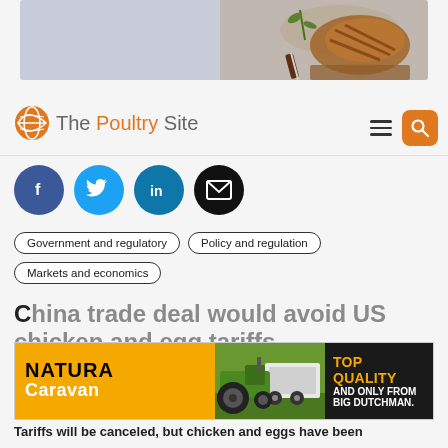[Figure (photo): Banner image showing grilled chicken with herbs on a dark background]
[Figure (logo): The Poultry Site logo with orange globe icon]
[Figure (infographic): Social media sharing icons: Facebook, Twitter, LinkedIn, Email]
Government and regulatory
Policy and regulation
Markets and economics
China trade deal would avoid US chicken and egg tariffs
[Figure (infographic): Natura Caravan / Big Dutchman advertisement banner with tractor image]
Tariffs will be canceled, but chicken and eggs have been